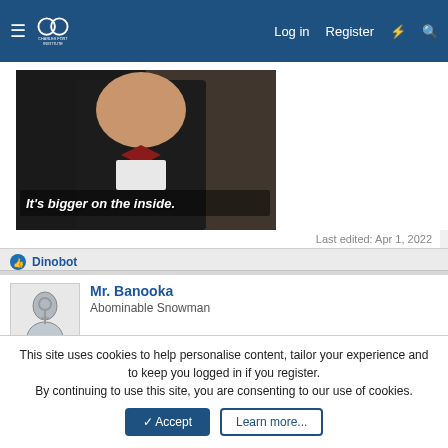Charles Fort Institute — Log in  Register
[Figure (photo): Meme image: person in tuxedo with red bow tie, text overlay reading 'It's bigger on the inside.']
Last edited: Apr 1, 2022
👍 Dinobot
Mr. Banooka
Abominable Snowman
Mar 31, 2022   #7,031
This site uses cookies to help personalise content, tailor your experience and to keep you logged in if you register.
By continuing to use this site, you are consenting to our use of cookies.